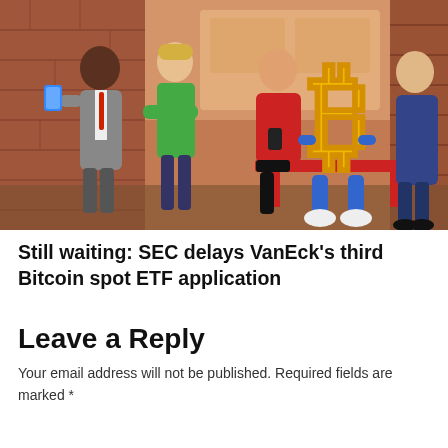[Figure (illustration): Illustrated scene of people waiting at a bus stop. From left: a Black man in a gray suit holding a phone, a person in a green shirt with arms crossed, a woman in a red coat sitting on a red bench looking at a phone, a large golden Bitcoin logo character sitting on the bench with blue legs and white sneakers, and a man in a blue suit facing away on the right. Brick wall background with warm orange/brown tones.]
Still waiting: SEC delays VanEck’s third Bitcoin spot ETF application
Leave a Reply
Your email address will not be published. Required fields are marked *